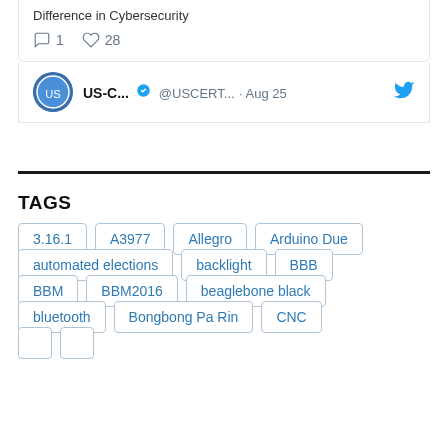[Figure (screenshot): Partial tweet card showing reply count 1 and like count 28]
[Figure (screenshot): Tweet header showing US-C... account with verified badge, @USCERT... handle, Aug 25 date, and Twitter bird icon]
TAGS
3.16.1
A3977
Allegro
Arduino Due
automated elections
backlight
BBB
BBM
BBM2016
beaglebone black
bluetooth
Bongbong Pa Rin
CNC